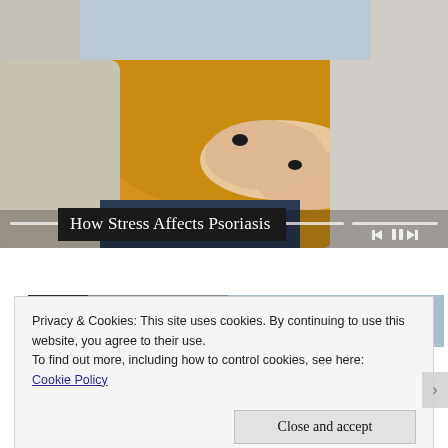[Figure (photo): Woman in yellow sweater scratching her elbow, sitting on a sofa with grey and yellow cushions. Video player interface with scrubber bar and media controls visible.]
How Stress Affects Psoriasis
[Figure (photo): Partial view of another image below the video, showing a dark and light scene.]
Privacy & Cookies: This site uses cookies. By continuing to use this website, you agree to their use.
To find out more, including how to control cookies, see here:
Cookie Policy
Close and accept